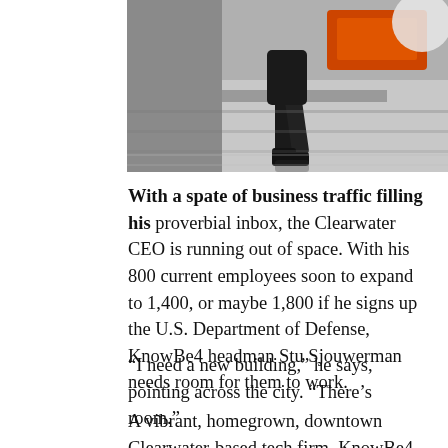[Figure (photo): A person in dark clothing walking across a shiny floor, photographed from below waist level. Background shows an orange sign/logo partially visible.]
With a spate of business traffic filling his proverbial inbox, the Clearwater CEO is running out of space. With his 800 current employees soon to expand to 1,400, or maybe 1,800 if he signs up the U.S. Department of Defense, KnowBe4 headman Stu Sjouwerman needs room for them to work.
“I need a new building,” he says, pointing across the city. “There’s room.”
A vibrant, homegrown, downtown Clearwater-based tech firm, KnowBe4 is quickly exploding out of its three floors of headquarter office space in the downtown Clearwater Tower building.